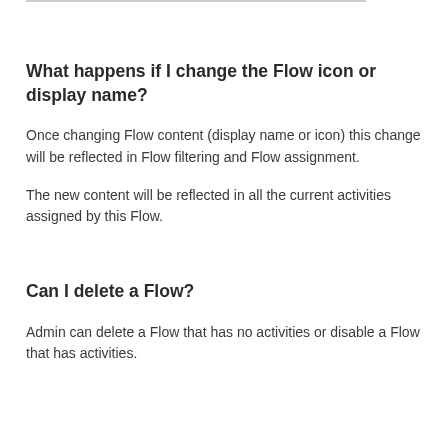What happens if I change the Flow icon or display name?
Once changing Flow content (display name or icon) this change will be reflected in Flow filtering and Flow assignment.
The new content will be reflected in all the current activities assigned by this Flow.
Can I delete a Flow?
Admin can delete a Flow that has no activities or disable a Flow that has activities.